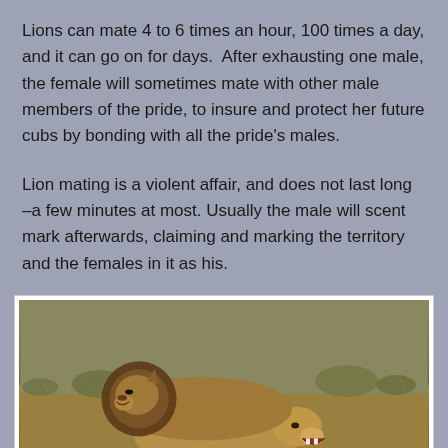Lions can mate 4 to 6 times an hour, 100 times a day, and it can go on for days.  After exhausting one male, the female will sometimes mate with other male members of the pride, to insure and protect her future cubs by bonding with all the pride's males.
Lion mating is a violent affair, and does not last long –a few minutes at most. Usually the male will scent mark afterwards, claiming and marking the territory and the females in it as his.
[Figure (photo): Photograph of two lions mating in a savanna/bush landscape. A male lion with a dark mane is mounted on a female lion. The background shows dry grass and scrub vegetation.]